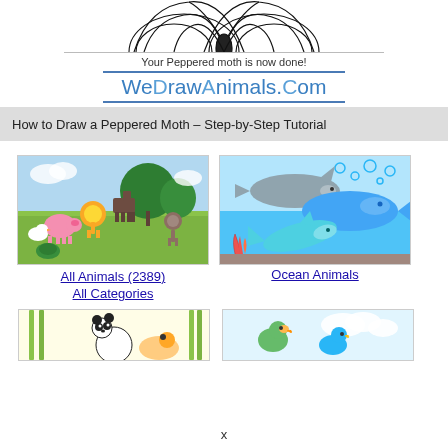[Figure (illustration): Partially visible detailed black and white drawing of a peppered moth at the top of the page]
Your Peppered moth is now done!
WeDrawAnimals.Com
How to Draw a Peppered Moth – Step-by-Step Tutorial
[Figure (illustration): Category image showing various land animals including a pig, duck, horse, lion, monkey, turtle on a green background]
[Figure (illustration): Category image showing ocean animals including a shark, whale, and dolphin on a blue background]
All Animals (2389)
All Categories
Ocean Animals
[Figure (illustration): Partially visible category image showing panda and other animals on a light yellow background]
[Figure (illustration): Partially visible category image showing birds and clouds on a light background]